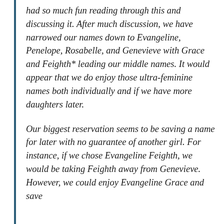had so much fun reading through this and discussing it. After much discussion, we have narrowed our names down to Evangeline, Penelope, Rosabelle, and Genevieve with Grace and Feighth* leading our middle names. It would appear that we do enjoy those ultra-feminine names both individually and if we have more daughters later.
Our biggest reservation seems to be saving a name for later with no guarantee of another girl. For instance, if we chose Evangeline Feighth, we would be taking Feighth away from Genevieve. However, we could enjoy Evangeline Grace and save